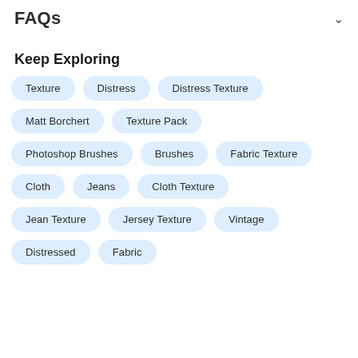FAQs
Keep Exploring
Texture
Distress
Distress Texture
Matt Borchert
Texture Pack
Photoshop Brushes
Brushes
Fabric Texture
Cloth
Jeans
Cloth Texture
Jean Texture
Jersey Texture
Vintage
Distressed
Fabric